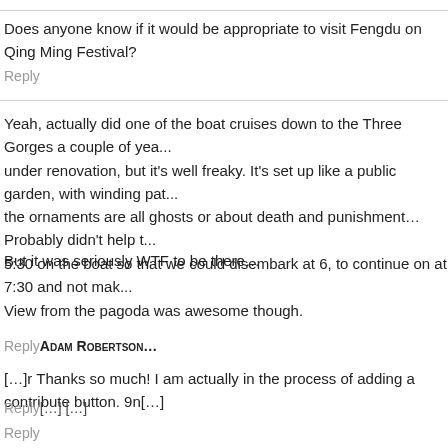Does anyone know if it would be appropriate to visit Fengdu on Qing Ming Festival?
Reply
Yeah, actually did one of the boat cruises down to the Three Gorges a couple of years ago. Fengdu was under renovation, but it's well freaky. It's set up like a public garden, with winding paths, but all the ornaments are all ghosts or about death and punishment… Probably didn't help that we arrived at 5:30 on the boat so that we could disembark at 6, to continue on at 7:30 and not make it back.
But it was seriously WTF to be there…
View from the pagoda was awesome though.
Reply Adam Robertson…
[…]r Thanks so much! I am actually in the process of adding a contribute button. 9n[…]
Reply[…] […]
Reply